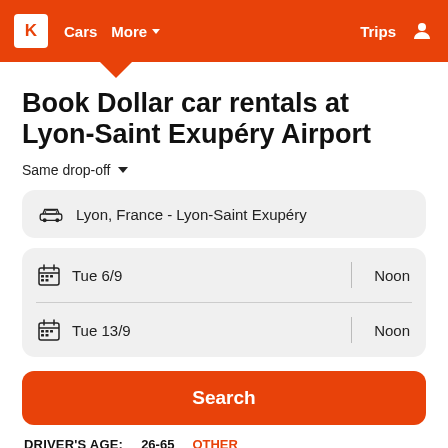K  Cars  More ∨  Trips  👤
Book Dollar car rentals at Lyon-Saint Exupéry Airport
Same drop-off ∨
Lyon, France - Lyon-Saint Exupéry
Tue 6/9  |  Noon
Tue 13/9  |  Noon
Search
DRIVER'S AGE:  26-65  OTHER